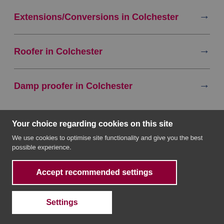Extensions/Conversions in Colchester →
Roofer in Colchester →
Damp proofer in Colchester →
Your choice regarding cookies on this site
We use cookies to optimise site functionality and give you the best possible experience.
Accept recommended settings
Settings